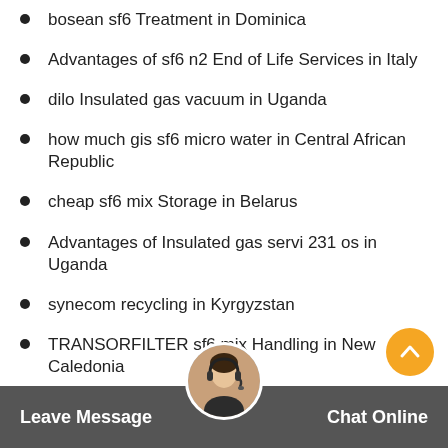bosean sf6 Treatment in Dominica
Advantages of sf6 n2 End of Life Services in Italy
dilo Insulated gas vacuum in Uganda
how much gis sf6 micro water in Central African Republic
cheap sf6 mix Storage in Belarus
Advantages of Insulated gas servi 231 os in Uganda
synecom recycling in Kyrgyzstan
TRANSORFILTER sf6 mix Handling in New Caledonia
where can I get Insulated gas Analysis in Norway
advantages of emissions in South Korea
Brochure sf6 mix sensor in Puerto Rico
best sf6 mixture re-use in India
Rapidox sf6 Alternatives Systems in Brazil
gachanor sf6 mix Filling in Somalia
Leave Message   Chat Online